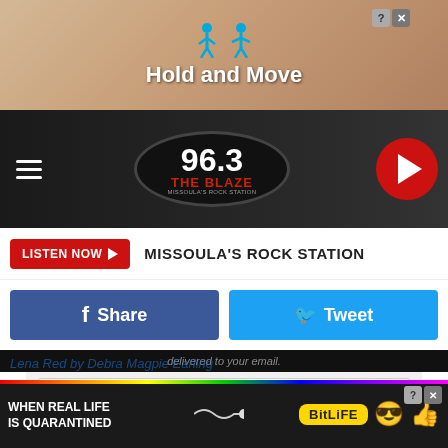[Figure (screenshot): Advertisement banner: 'Hold and Move' app/game ad with stick figure icons]
[Figure (logo): 96.3 The Blaze - Missoula's Rock Station radio station logo with navigation hamburger menu and red play button]
LISTEN NOW ▶  MISSOULA'S ROCK STATION
Share
Tweet
delivered to your email.
Email Address
Like Us On Facebook
Lena Red by Debra Magpie Earling
the 19
[Figure (screenshot): BitLife advertisement banner: 'WHEN REAL LIFE IS QUARANTINED' with BitLife game logo and emoji characters]